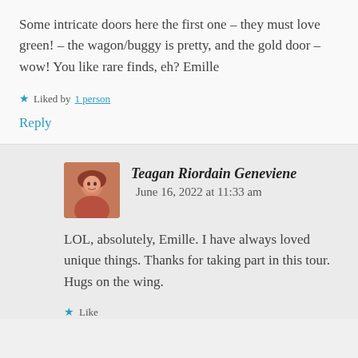Some intricate doors here the first one – they must love green! – the wagon/buggy is pretty, and the gold door – wow! You like rare finds, eh? Emille
★ Liked by 1 person
Reply
Teagan Riordain Geneviene   June 16, 2022 at 11:33 am
LOL, absolutely, Emille. I have always loved unique things. Thanks for taking part in this tour. Hugs on the wing.
★ Like